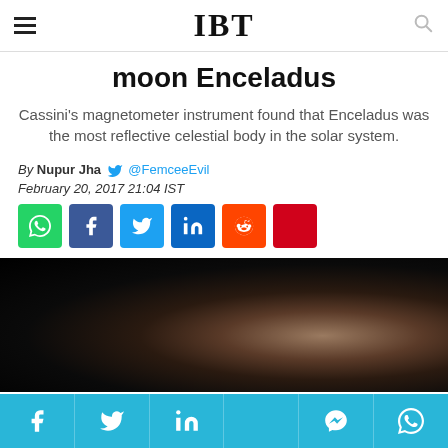IBT
moon Enceladus
Cassini's magnetometer instrument found that Enceladus was the most reflective celestial body in the solar system.
By Nupur Jha @FemceeEvil
February 20, 2017 21:04 IST
[Figure (other): Row of social share buttons: WhatsApp (green), Facebook (blue), Twitter (light blue), LinkedIn (dark blue), Reddit (orange), red button]
[Figure (photo): Dark image showing a mostly black scene with a brownish blurred object, likely a celestial body or space image]
Bottom social share bar with Facebook, Twitter, LinkedIn, unknown, Messenger, WhatsApp icons on cyan background